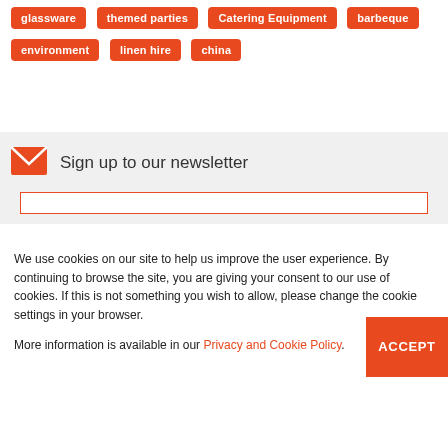glassware
themed parties
Catering Equipment
barbeque
environment
linen hire
china
Sign up to our newsletter
We use cookies on our site to help us improve the user experience. By continuing to browse the site, you are giving your consent to our use of cookies. If this is not something you wish to allow, please change the cookie settings in your browser.
More information is available in our Privacy and Cookie Policy.